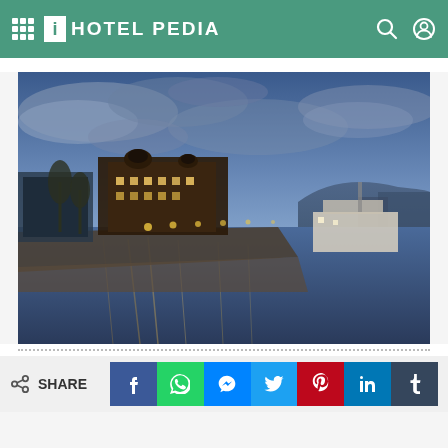iHOTEL PEDIA
[Figure (photo): Nighttime/dusk photo of a lakeside city (Zurich) with illuminated historic buildings, a promenade, and reflections on the water. A boat is docked on the right side, and hills are visible in the background under a blue cloudy sky.]
SHARE
f  WhatsApp  Messenger  Twitter  Pinterest  in  t